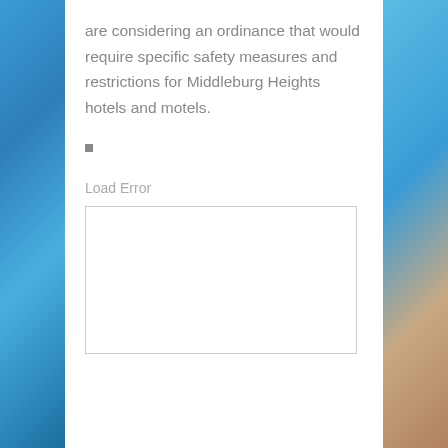are considering an ordinance that would require specific safety measures and restrictions for Middleburg Heights hotels and motels.
Load Error
[Figure (other): Empty white rectangle with a light gray border, representing a failed media load area.]